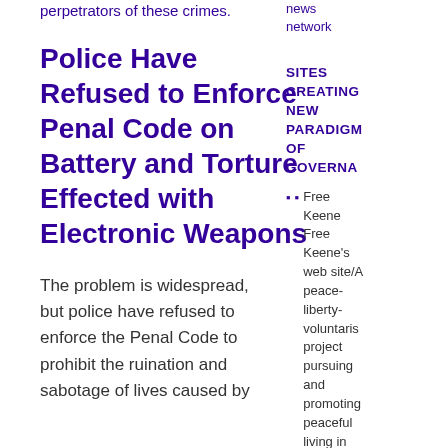perpetrators of these crimes.
news network
Police Have Refused to Enforce Penal Code on Battery and Torture Effected with Electronic Weapons
SITES CREATING NEW PARADIGM OF GOVERNANCE
The problem is widespread, but police have refused to enforce the Penal Code to prohibit the ruination and sabotage of lives caused by
Free Keene Free Keene's web site/A peace-liberty-voluntarism project pursuing and promoting peaceful living in Free